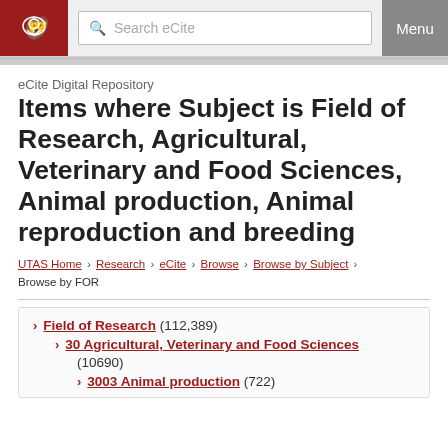eCite Digital Repository — Search eCite — Menu
eCite Digital Repository
Items where Subject is Field of Research, Agricultural, Veterinary and Food Sciences, Animal production, Animal reproduction and breeding
UTAS Home > Research > eCite > Browse > Browse by Subject > Browse by FOR
Field of Research (112,389)
30 Agricultural, Veterinary and Food Sciences (10690)
3003 Animal production (722)